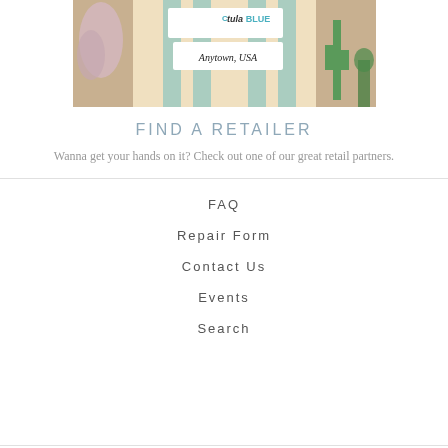[Figure (photo): Retail store front image showing TulaBlue logo sign and Anytown, USA sign, with cacti and plants in a decorated storefront setting]
FIND A RETAILER
Wanna get your hands on it? Check out one of our great retail partners.
FAQ
Repair Form
Contact Us
Events
Search